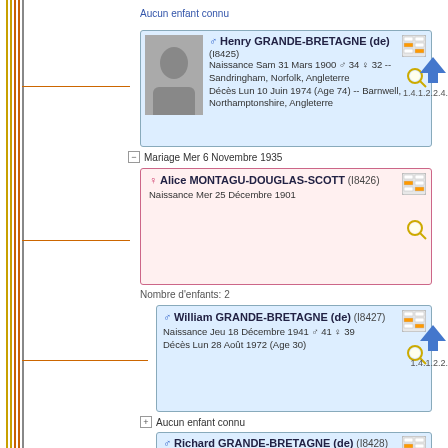Aucun enfant connu
♂ Henry GRANDE-BRETAGNE (de) (I8425)
Naissance Sam 31 Mars 1900 ♂ 34 ♀ 32 -- Sandringham, Norfolk, Angleterre
Décès Lun 10 Juin 1974 (Age 74) -- Barnwell, Northamptonshire, Angleterre
1.4.1.2.2.4.
Mariage Mer 6 Novembre 1935
♀ Alice MONTAGU-DOUGLAS-SCOTT (I8426)
Naissance Mer 25 Décembre 1901
Nombre d'enfants: 2
♂ William GRANDE-BRETAGNE (de) (I8427)
Naissance Jeu 18 Décembre 1941 ♂ 41 ♀ 39
Décès Lun 28 Août 1972 (Age 30)
1.4.1.2.2.
Aucun enfant connu
♂ Richard GRANDE-BRETAGNE (de) (I8428)
Naissance Mer 16 Août 1944 ♂ 44 ♀ 42 -- Northampton, Northamptonshire, Angleterre
1.4.1.2.2.